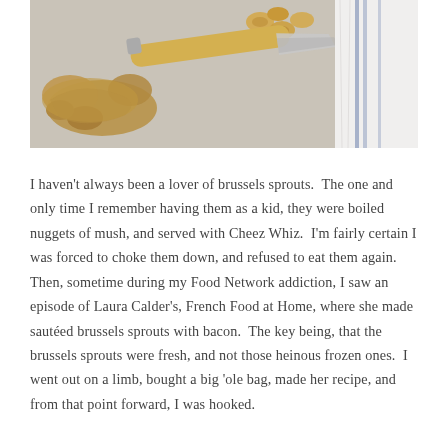[Figure (photo): Overhead photo of ginger root, a knife with a wooden handle, sliced ginger pieces, and a white cloth with blue stripes, on a light gray surface.]
I haven't always been a lover of brussels sprouts. The one and only time I remember having them as a kid, they were boiled nuggets of mush, and served with Cheez Whiz. I'm fairly certain I was forced to choke them down, and refused to eat them again. Then, sometime during my Food Network addiction, I saw an episode of Laura Calder's, French Food at Home, where she made sautéed brussels sprouts with bacon. The key being, that the brussels sprouts were fresh, and not those heinous frozen ones. I went out on a limb, bought a big 'ole bag, made her recipe, and from that point forward, I was hooked.